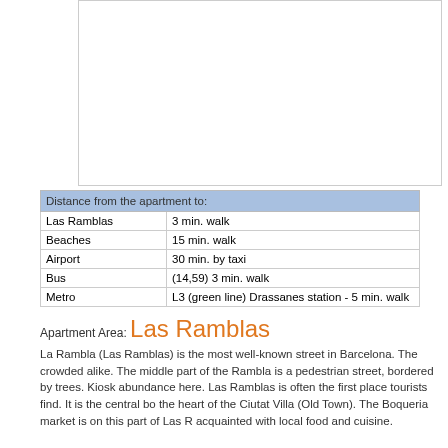[Figure (photo): Image placeholder area with white background and light grey border]
| Distance from the apartment to: |
| --- |
| Las Ramblas | 3 min. walk |
| Beaches | 15 min. walk |
| Airport | 30 min. by taxi |
| Bus | (14,59) 3 min. walk |
| Metro | L3 (green line) Drassanes station - 5 min. walk |
Apartment Area: Las Ramblas
La Rambla (Las Ramblas) is the most well-known street in Barcelona. The crowded alike. The middle part of the Rambla is a pedestrian street, bordered by trees. Kiosk abundance here. Las Ramblas is often the first place tourists find. It is the central bo the heart of the Ciutat Villa (Old Town). The Boqueria market is on this part of Las R acquainted with local food and cuisine.